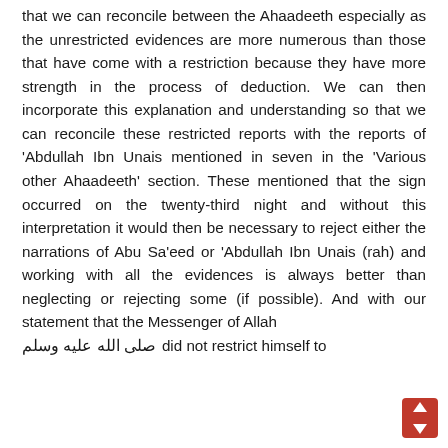that we can reconcile between the Ahaadeeth especially as the unrestricted evidences are more numerous than those that have come with a restriction because they have more strength in the process of deduction. We can then incorporate this explanation and understanding so that we can reconcile these restricted reports with the reports of 'Abdullah Ibn Unais mentioned in seven in the 'Various other Ahaadeeth' section. These mentioned that the sign occurred on the twenty-third night and without this interpretation it would then be necessary to reject either the narrations of Abu Sa'eed or 'Abdullah Ibn Unais (rah) and working with all the evidences is always better than neglecting or rejecting some (if possible). And with our statement that the Messenger of Allah صلى الله عليه وسلم did not restrict himself to